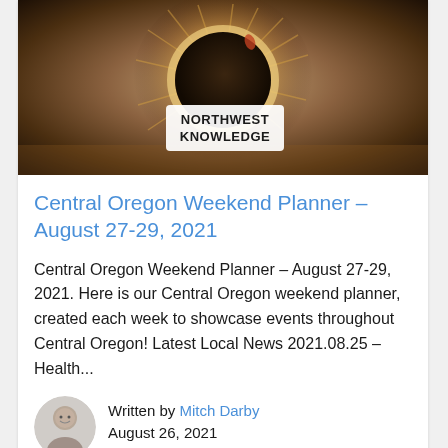[Figure (photo): Solar eclipse photo showing corona around the moon with a white text box overlay reading 'NORTHWEST KNOWLEDGE' in bold dark letters]
Central Oregon Weekend Planner – August 27-29, 2021
Central Oregon Weekend Planner – August 27-29, 2021. Here is our Central Oregon weekend planner, created each week to showcase events throughout Central Oregon! Latest Local News 2021.08.25 – Health...
Written by Mitch Darby
August 26, 2021
No Comments